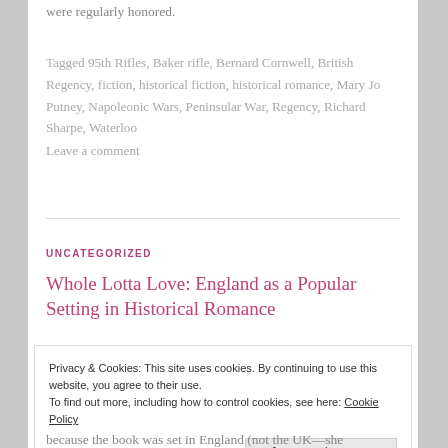were regularly honored.
Tagged 95th Rifles, Baker rifle, Bernard Cornwell, British Regency, fiction, historical fiction, historical romance, Mary Jo Putney, Napoleonic Wars, Peninsular War, Regency, Richard Sharpe, Waterloo
Leave a comment
UNCATEGORIZED
Whole Lotta Love: England as a Popular Setting in Historical Romance
Privacy & Cookies: This site uses cookies. By continuing to use this website, you agree to their use. To find out more, including how to control cookies, see here: Cookie Policy
Close and accept
because the book was set in England (not the UK—she